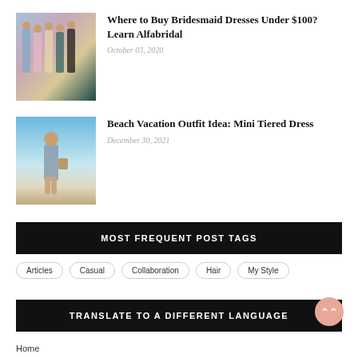[Figure (photo): Thumbnail of bridesmaids in colorful dresses]
Where to Buy Bridesmaid Dresses Under $100? Learn Alfabridal
October 03, 2020
[Figure (photo): Thumbnail of person in mini tiered dress on beach]
Beach Vacation Outfit Idea: Mini Tiered Dress
December 30, 2021
MOST FREQUENT POST TAGS
Articles
Casual
Collaboration
Hair
My Style
TRANSLATE TO A DIFFERENT LANGUAGE
Home